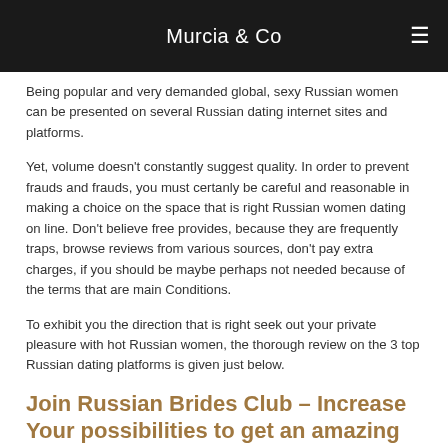Murcia & Co
Being popular and very demanded global, sexy Russian women can be presented on several Russian dating internet sites and platforms.
Yet, volume doesn't constantly suggest quality. In order to prevent frauds and frauds, you must certanly be careful and reasonable in making a choice on the space that is right Russian women dating on line. Don't believe free provides, because they are frequently traps, browse reviews from various sources, don't pay extra charges, if you should be maybe perhaps not needed because of the terms that are main Conditions.
To exhibit you the direction that is right seek out your private pleasure with hot Russian women, the thorough review on the 3 top Russian dating platforms is given just below.
Join Russian Brides Club – Increase Your possibilities to get an amazing Russian Bride
Russian Brides Club is convenient and protected platform to satisfy and retain in touch with hot Russian brides without additional efforts.